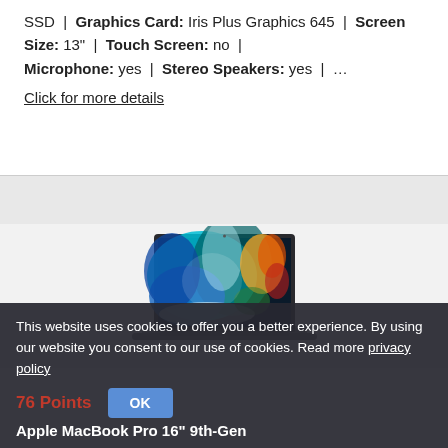SSD | Graphics Card: Iris Plus Graphics 645 | Screen Size: 13" | Touch Screen: no | Microphone: yes | Stereo Speakers: yes | … Click for more details
[Figure (photo): Apple MacBook Pro laptop with colorful abstract wallpaper on screen, viewed from slightly above front, space gray color]
This website uses cookies to offer you a better experience. By using our website you consent to our use of cookies. Read more privacy policy OK
76 Points
Apple MacBook Pro 16" 9th-Gen